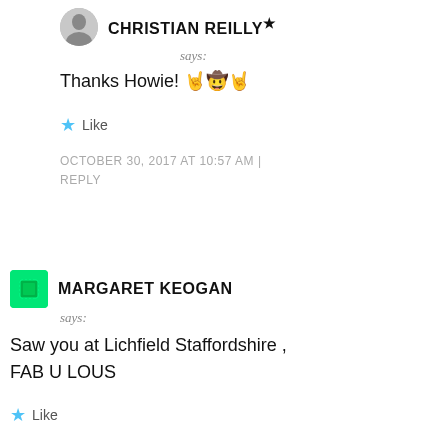CHRISTIAN REILLY★
says:
Thanks Howie! 🤘🤠🤘
★ Like
OCTOBER 30, 2017 AT 10:57 AM | REPLY
MARGARET KEOGAN
says:
Saw you at Lichfield Staffordshire , FAB U LOUS
★ Like